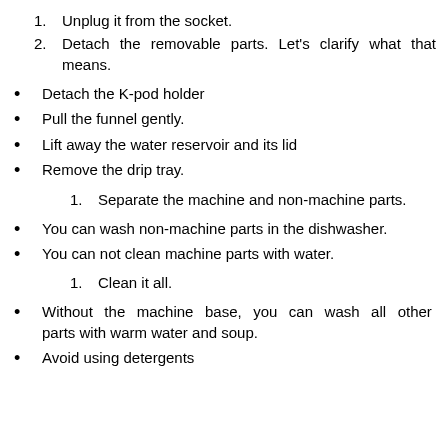1. Unplug it from the socket.
2. Detach the removable parts. Let's clarify what that means.
Detach the K-pod holder
Pull the funnel gently.
Lift away the water reservoir and its lid
Remove the drip tray.
1. Separate the machine and non-machine parts.
You can wash non-machine parts in the dishwasher.
You can not clean machine parts with water.
1. Clean it all.
Without the machine base, you can wash all other parts with warm water and soup.
Avoid using detergents